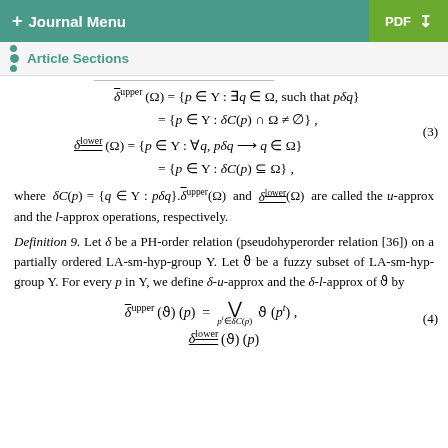+ Journal Menu | PDF (download)
Article Sections
where δC(p) = {q ∈ Υ : pδq}. δ^upper(Ω) and δ^lower(Ω) are called the u-approx and the l-approx operations, respectively.
Definition 9. Let δ be a PH-order relation (pseudohyperorder relation [36]) on a partially ordered LA-sm-hyp-group Υ. Let ϑ be a fuzzy subset of LA-sm-hyp-group Υ. For every p in Υ, we define δ-u-approx and the δ-l-approx of ϑ by